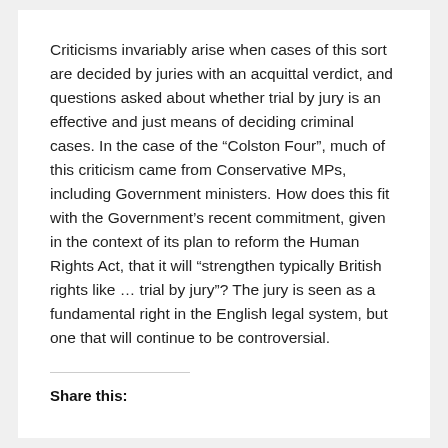Criticisms invariably arise when cases of this sort are decided by juries with an acquittal verdict, and questions asked about whether trial by jury is an effective and just means of deciding criminal cases. In the case of the “Colston Four”, much of this criticism came from Conservative MPs, including Government ministers. How does this fit with the Government’s recent commitment, given in the context of its plan to reform the Human Rights Act, that it will “strengthen typically British rights like … trial by jury”? The jury is seen as a fundamental right in the English legal system, but one that will continue to be controversial.
Share this: